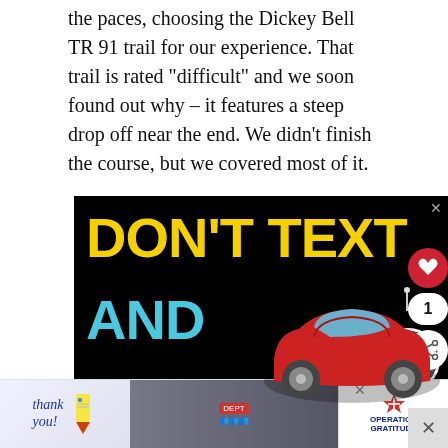the paces, choosing the Dickey Bell TR 91 trail for our experience. That trail is rated "difficult" and we soon found out why – it features a steep drop off near the end. We didn't finish the course, but we covered most of it.
[Figure (other): Advertisement banner with black background, yellow text 'DON'T TEXT' and cyan text 'AND' with a red car emoji graphic. Below is an Operation Gratitude advertisement banner showing firefighters and a 'Thank you!' handwritten note.]